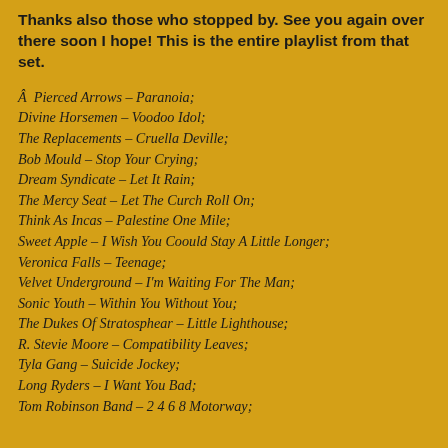Thanks also those who stopped by. See you again over there soon I hope! This is the entire playlist from that set.
Â  Pierced Arrows – Paranoia;
Divine Horsemen – Voodoo Idol;
The Replacements – Cruella Deville;
Bob Mould – Stop Your Crying;
Dream Syndicate – Let It Rain;
The Mercy Seat – Let The Curch Roll On;
Think As Incas – Palestine One Mile;
Sweet Apple – I Wish You Coould Stay A Little Longer;
Veronica Falls – Teenage;
Velvet Underground – I'm Waiting For The Man;
Sonic Youth – Within You Without You;
The Dukes Of Stratosphear – Little Lighthouse;
R. Stevie Moore – Compatibility Leaves;
Tyla Gang – Suicide Jockey;
Long Ryders – I Want You Bad;
Tom Robinson Band – 2 4 6 8 Motorway;